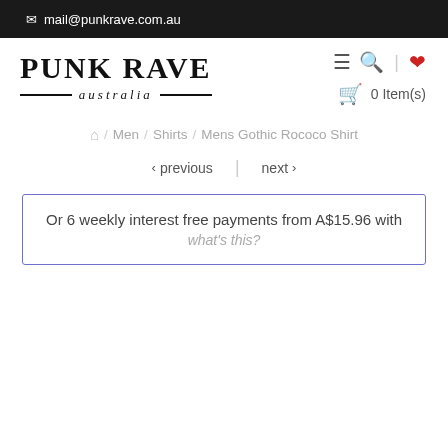mail@punkrave.com.au
[Figure (logo): Punk Rave Australia logo with bold serif text and decorative lines]
0 Item(s)
/ Men / Shirts / Mens Gothic Rococo Shirt
< previous | next >
Or 6 weekly interest free payments from A$15.96 with what's this?